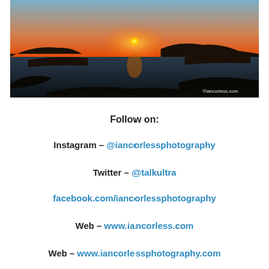[Figure (photo): Sunset landscape photograph over water with mountain silhouettes and rocky foreground. Orange and blue sky gradient. Watermark reads ©iancorless.com]
Follow on:
Instagram – @iancorlessphotography
Twitter – @talkultra
facebook.com/iancorlessphotography
Web – www.iancorless.com
Web – www.iancorlessphotography.com